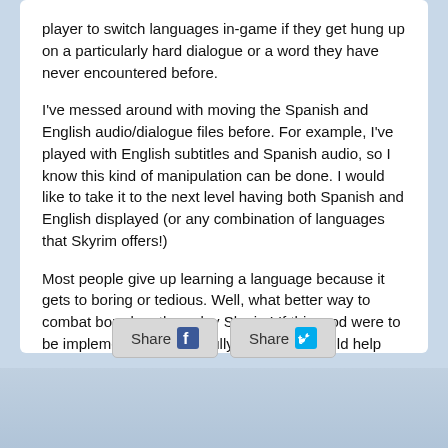player to switch languages in-game if they get hung up on a particularly hard dialogue or a word they have never encountered before.
I've messed around with moving the Spanish and English audio/dialogue files before. For example, I've played with English subtitles and Spanish audio, so I know this kind of manipulation can be done. I would like to take it to the next level having both Spanish and English displayed (or any combination of languages that Skyrim offers!)
Most people give up learning a language because it gets to boring or tedious. Well, what better way to combat boredom than play Skyrim! If this mod were to be implemented successfully, I think this could help many language learners immensely.
I'd love to hear what the community thinks! Any ideas? Can this be done?
[Figure (other): Share buttons for Facebook and Twitter]